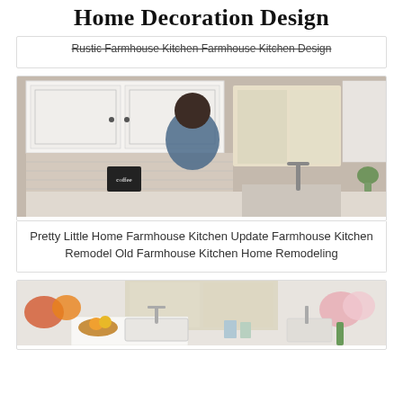Home Decoration Design
Rustic Farmhouse Kitchen Farmhouse Kitchen Design
[Figure (photo): Woman sitting in a farmhouse kitchen with white cabinets, tile backsplash, and window with natural light]
Pretty Little Home Farmhouse Kitchen Update Farmhouse Kitchen Remodel Old Farmhouse Kitchen Home Remodeling
[Figure (photo): Farmhouse kitchen countertop with sink, flowers, and fruits]